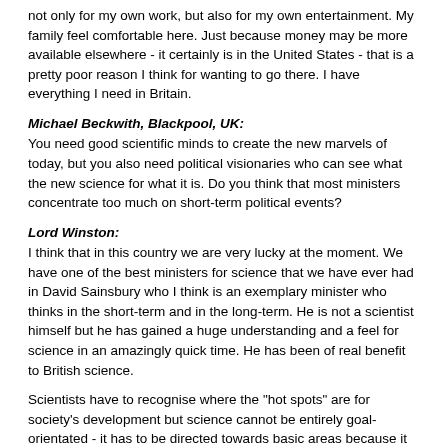not only for my own work, but also for my own entertainment. My family feel comfortable here. Just because money may be more available elsewhere - it certainly is in the United States - that is a pretty poor reason I think for wanting to go there. I have everything I need in Britain.
Michael Beckwith, Blackpool, UK:
You need good scientific minds to create the new marvels of today, but you also need political visionaries who can see what the new science for what it is. Do you think that most ministers concentrate too much on short-term political events?
Lord Winston:
I think that in this country we are very lucky at the moment. We have one of the best ministers for science that we have ever had in David Sainsbury who I think is an exemplary minister who thinks in the short-term and in the long-term. He is not a scientist himself but he has gained a huge understanding and a feel for science in an amazingly quick time. He has been of real benefit to British science.
Scientists have to recognise where the "hot spots" are for society's development but science cannot be entirely goal-orientated - it has to be directed towards basic areas because it is only by uncovering the basic areas that you start to find out where the applications might be.